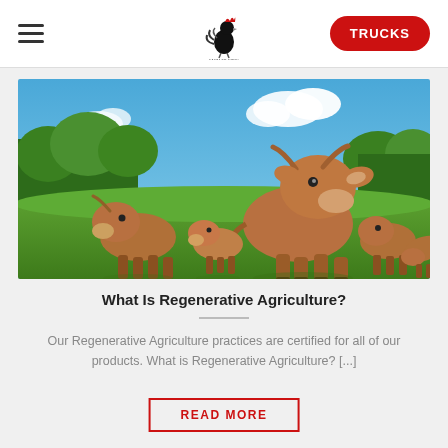TRUCKS
[Figure (photo): A herd of brown/tan cattle grazing in a green field under a blue sky with clouds and trees in the background. A large cow faces the camera in the foreground.]
What Is Regenerative Agriculture?
Our Regenerative Agriculture practices are certified for all of our products. What is Regenerative Agriculture? [...]
READ MORE